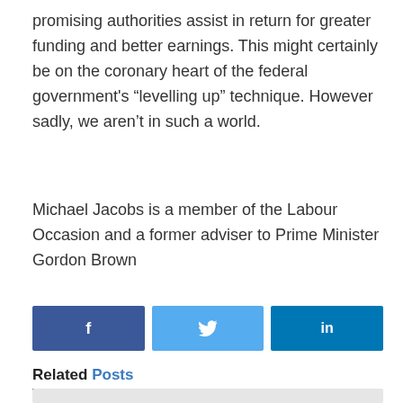promising authorities assist in return for greater funding and better earnings. This might certainly be on the coronary heart of the federal government’s “levelling up” technique. However sadly, we aren’t in such a world.
Michael Jacobs is a member of the Labour Occasion and a former adviser to Prime Minister Gordon Brown
[Figure (infographic): Three social media share buttons: Facebook (dark blue with f icon), Twitter (light blue with bird icon), LinkedIn (teal/blue with in icon)]
Related Posts
[Figure (photo): Light grey image placeholder at bottom of page]